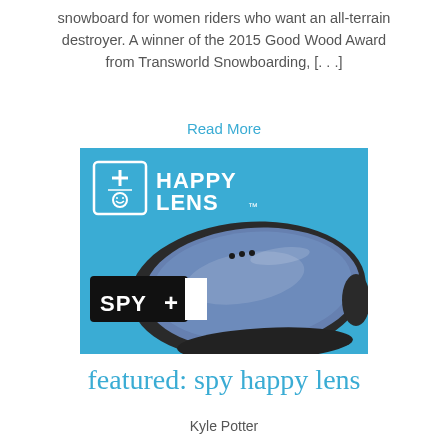snowboard for women riders who want an all-terrain destroyer. A winner of the 2015 Good Wood Award from Transworld Snowboarding, [. . .]
Read More
[Figure (photo): SPY Happy Lens ski goggle product advertisement on cyan/blue background showing the SPY+ logo and Happy Lens branding with a pair of ski goggles featuring a dark blue mirrored lens and black/white frame.]
featured: spy happy lens
Kyle Potter